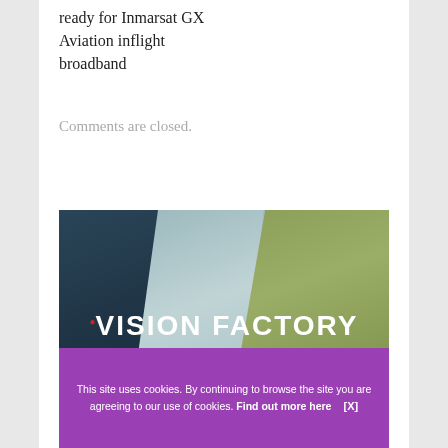ready for Inmarsat GX Aviation inflight broadband
Comments are closed.
[Figure (logo): Vision Factory advertisement banner with diagonal leather-textured panels in dark blue, light grey, and olive green. Large white bold text reads 'ViSION FACTORY' with a small red dot above the 'i'. Below in spaced light grey caps: 'DISCOVER' and 'VISUALISE'. A purple cookie consent bar at the bottom reads: 'This site uses cookies. By continuing to browse the site you are agreeing to our use of cookies. Find out more here [X]'.]